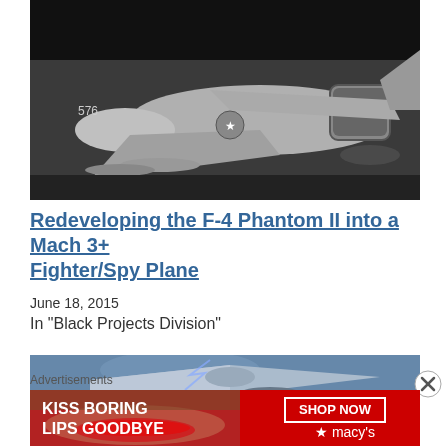[Figure (photo): Black and white photograph of an F-4 Phantom II military jet aircraft in a hangar or on the ground, showing the nose and fuselage with military markings including a star insignia. Tail number 576 visible.]
Redeveloping the F-4 Phantom II into a Mach 3+ Fighter/Spy Plane
June 18, 2015
In "Black Projects Division"
[Figure (photo): Color illustration/painting of a sleek futuristic aircraft in flight, appearing to be a concept or spy plane design against a sky background.]
Advertisements
[Figure (photo): Advertisement banner: Kiss Boring Lips Goodbye - Macy's cosmetics ad featuring a close-up of a woman's lips with red lipstick. SHOP NOW button on the right with Macy's star logo.]